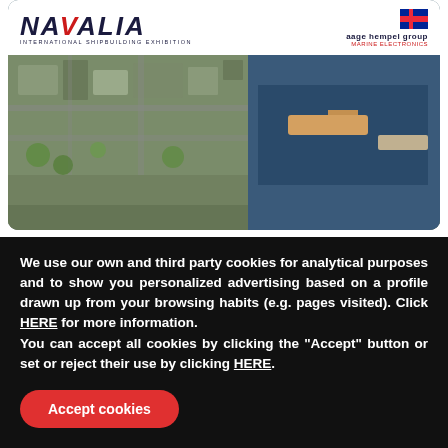[Figure (photo): Aerial photograph of a city/harbor with Navalia International Shipbuilding Exhibition and Aage Hempel Group Marine Electronics logos overlaid at the top on a white bar.]
Aage Hempel group will exhibit at Navalia
Aage Hempel Group will exhibit at Navalia. The International Shipbuilding Exhibition, Navalia, is considered
We use our own and third party cookies for analytical purposes and to show you personalized advertising based on a profile drawn up from your browsing habits (e.g. pages visited). Click HERE for more information.
You can accept all cookies by clicking the "Accept" button or set or reject their use by clicking HERE.
Accept cookies